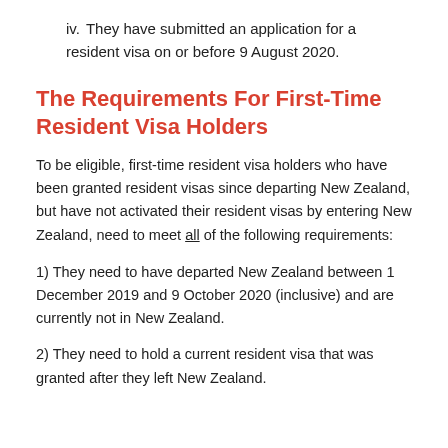iv. They have submitted an application for a resident visa on or before 9 August 2020.
The Requirements For First-Time Resident Visa Holders
To be eligible, first-time resident visa holders who have been granted resident visas since departing New Zealand, but have not activated their resident visas by entering New Zealand, need to meet all of the following requirements:
1) They need to have departed New Zealand between 1 December 2019 and 9 October 2020 (inclusive) and are currently not in New Zealand.
2) They need to hold a current resident visa that was granted after they left New Zealand.